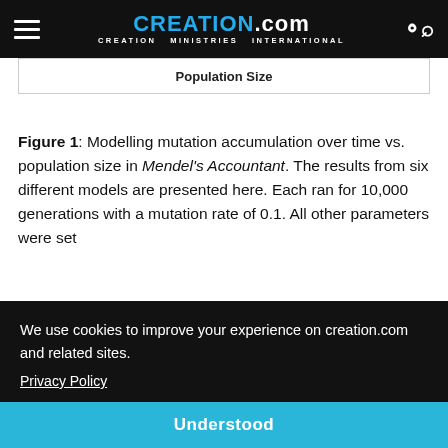CREATION.com — CREATION MINISTRIES INTERNATIONAL
Population Size
Figure 1: Modelling mutation accumulation over time vs. population size in Mendel's Accountant. The results from six different models are presented here. Each ran for 10,000 generations with a mutation rate of 0.1. All other parameters were set ... 50, ... rate ... no drift or selection. But even in larger populations,
We use cookies to improve your experience on creation.com and related sites. Privacy Policy
Understood